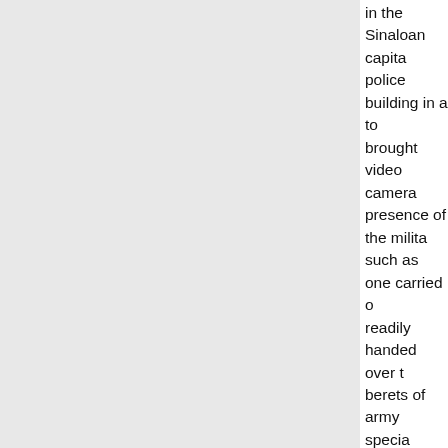in the Sinaloan capita police building in a to brought video camera presence of the milita such as one carried o readily handed over t berets of army specia the seven presumed fake soldiers] opened the state of Guerrero.
According to the Mor Trujillo, who writes or said he could not rem Guerrero. More than dozen of them decap for rival traffickers as said, were alleged to arm, Los Pelones. Fo Acapulco 'turf' by the the Mexico-Texas bor because they knew th with the Pelones,' sai This was a very clear
The Morning News p